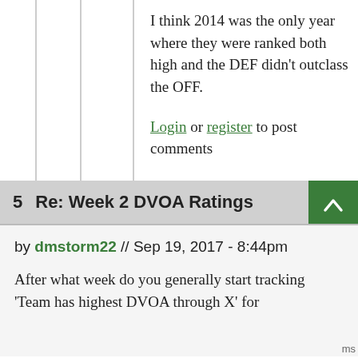I think 2014 was the only year where they were ranked both high and the DEF didn't outclass the OFF.
Login or register to post comments
5  Re: Week 2 DVOA Ratings
by dmstorm22 // Sep 19, 2017 - 8:44pm
After what week do you generally start tracking 'Team has highest DVOA through X' for